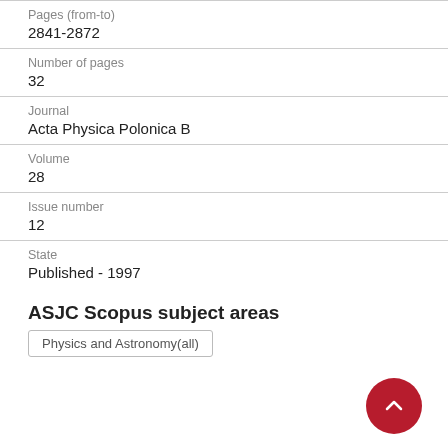Pages (from-to)
2841-2872
Number of pages
32
Journal
Acta Physica Polonica B
Volume
28
Issue number
12
State
Published - 1997
ASJC Scopus subject areas
Physics and Astronomy(all)